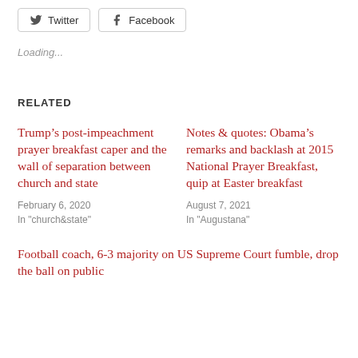[Figure (other): Social share buttons: Twitter and Facebook]
Loading...
RELATED
Trump’s post-impeachment prayer breakfast caper and the wall of separation between church and state
February 6, 2020
In "church&state"
Notes & quotes: Obama’s remarks and backlash at 2015 National Prayer Breakfast, quip at Easter breakfast
August 7, 2021
In "Augustana"
Football coach, 6-3 majority on US Supreme Court fumble, drop the ball on public